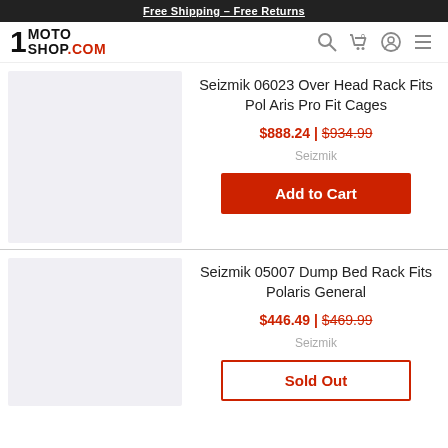Free Shipping – Free Returns
[Figure (logo): 1MotoShop.com logo with navigation icons]
Seizmik 06023 Over Head Rack Fits Pol Aris Pro Fit Cages
$888.24 | $934.99
Seizmik
Add to Cart
Seizmik 05007 Dump Bed Rack Fits Polaris General
$446.49 | $469.99
Seizmik
Sold Out